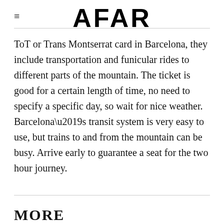AFAR
ToT or Trans Montserrat card in Barcelona, they include transportation and funicular rides to different parts of the mountain. The ticket is good for a certain length of time, no need to specify a specific day, so wait for nice weather. Barcelona’s transit system is very easy to use, but trains to and from the mountain can be busy. Arrive early to guarantee a seat for the two hour journey.
MORE RECOMMENDATIONS
Fri Jul 18 03:41:22 EDT 2014
Up, up, and away at Montserrat